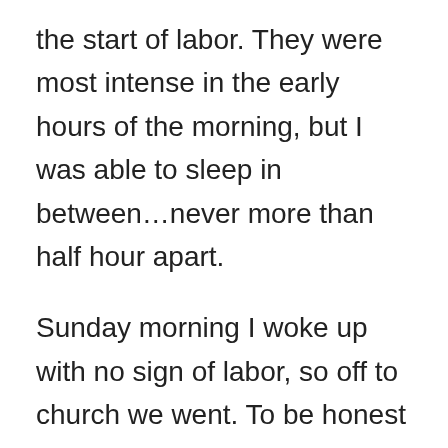the start of labor.  They were most intense in the early hours of the morning, but I was able to sleep in between…never more than half hour apart.
Sunday morning I woke up with no sign of labor, so off to church we went.  To be honest I was easily distracted during service and uncomfortable.  After church we went to eat at our favorite Mexican